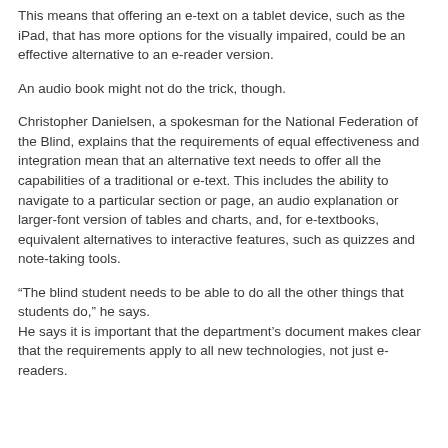This means that offering an e-text on a tablet device, such as the iPad, that has more options for the visually impaired, could be an effective alternative to an e-reader version.
An audio book might not do the trick, though.
Christopher Danielsen, a spokesman for the National Federation of the Blind, explains that the requirements of equal effectiveness and integration mean that an alternative text needs to offer all the capabilities of a traditional or e-text. This includes the ability to navigate to a particular section or page, an audio explanation or larger-font version of tables and charts, and, for e-textbooks, equivalent alternatives to interactive features, such as quizzes and note-taking tools.
“The blind student needs to be able to do all the other things that students do,” he says. He says it is important that the department’s document makes clear that the requirements apply to all new technologies, not just e-readers.